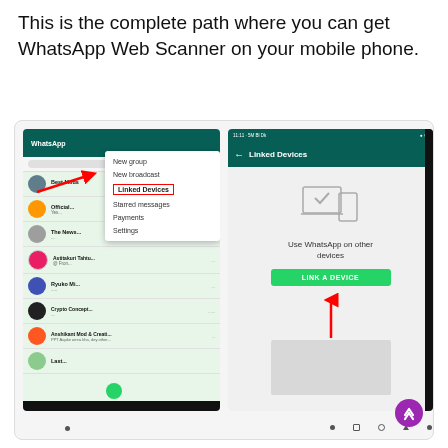This is the complete path where you can get WhatsApp Web Scanner on your mobile phone.
[Figure (screenshot): Two smartphone screenshots side by side showing WhatsApp navigation: left shows a WhatsApp menu with 'Linked Devices' highlighted with a red box and red arrow, right shows the 'Linked Devices' screen with a 'LINK A DEVICE' green button and a red arrow pointing to it.]